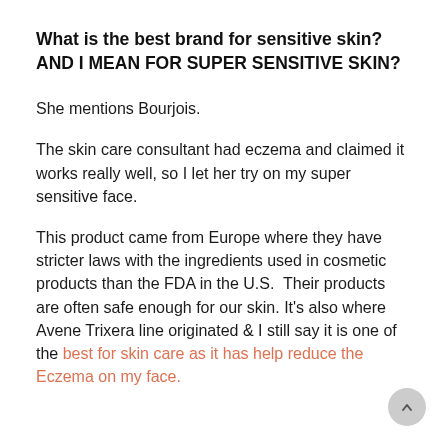What is the best brand for sensitive skin? AND I MEAN FOR SUPER SENSITIVE SKIN?
She mentions Bourjois.
The skin care consultant had eczema and claimed it works really well, so I let her try on my super sensitive face.
This product came from Europe where they have stricter laws with the ingredients used in cosmetic products than the FDA in the U.S.  Their products are often safe enough for our skin. It's also where Avene Trixera line originated & I still say it is one of the best for skin care as it has help reduce the Eczema on my face.